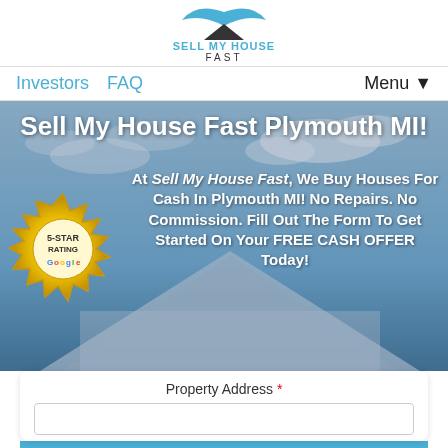[Figure (logo): Sell My House Fast logo with bird/house shape icon and text 'SELL MY HOUSE FAST']
Investors   FAQ   Menu ▼
Sell My House Fast Plymouth MI!
[Figure (logo): 5-Star Rating Google badge]
At Sell My House Fast, We Buy Houses For Cash In Plymouth MI! No Repairs. No Commission. Fill Out The Form To Get Started On Your FREE CASH OFFER Today!
Property Address *